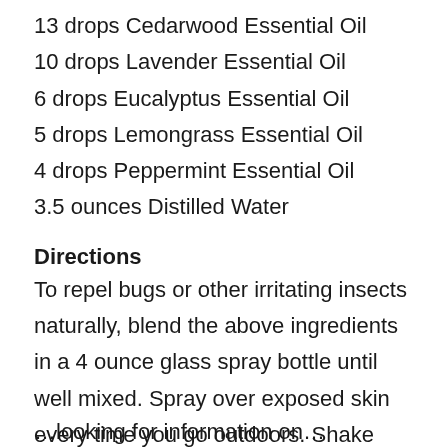13 drops Cedarwood Essential Oil
10 drops Lavender Essential Oil
6 drops Eucalyptus Essential Oil
5 drops Lemongrass Essential Oil
4 drops Peppermint Essential Oil
3.5 ounces Distilled Water
Directions
To repel bugs or other irritating insects naturally, blend the above ingredients in a 4 ounce glass spray bottle until well mixed. Spray over exposed skin every time you go outdoors. Shake before each use.
…looking for information on…